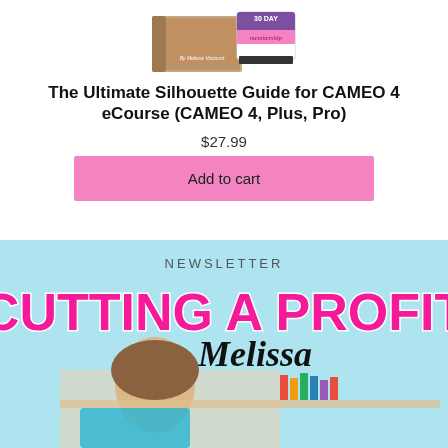[Figure (photo): Product image showing a book/ecourse with '30 DAY membership' badge, authored by Melissa Viscount]
The Ultimate Silhouette Guide for CAMEO 4 eCourse (CAMEO 4, Plus, Pro)
$27.99
Add to cart
[Figure (photo): Newsletter promotional banner: 'NEWSLETTER CUTTING A PROFIT with Melissa' featuring a photo of a woman (Melissa) with craft supplies in background]